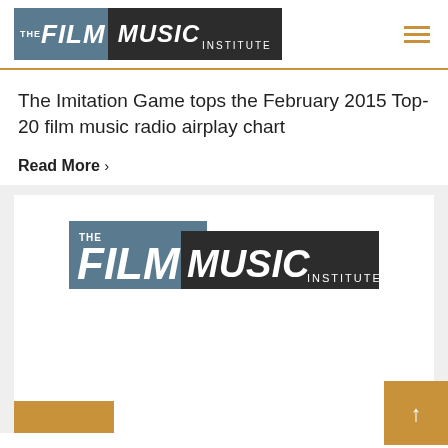THE FILM MUSIC INSTITUTE
The Imitation Game tops the February 2015 Top-20 film music radio airplay chart
Read More >
[Figure (logo): The Film Music Institute logo — two overlapping rectangles, left in steel blue with 'THE FILM', right in dark charcoal with 'MUSIC INSTITUTE']